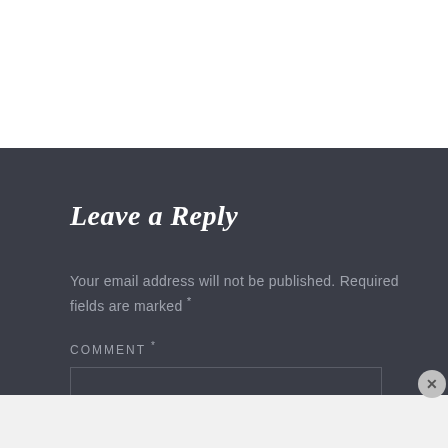Leave a Reply
Your email address will not be published. Required fields are marked *
COMMENT *
[Figure (screenshot): WordPress.com advertisement banner with blue background, WordPress logo, site name, and pink 'Build Your Website' button]
Advertisements